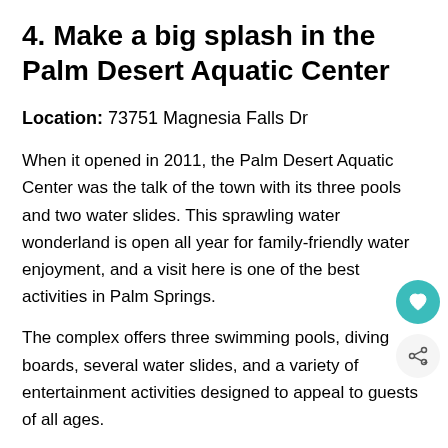4. Make a big splash in the Palm Desert Aquatic Center
Location: 73751 Magnesia Falls Dr
When it opened in 2011, the Palm Desert Aquatic Center was the talk of the town with its three pools and two water slides. This sprawling water wonderland is open all year for family-friendly water enjoyment, and a visit here is one of the best activities in Palm Springs.
The complex offers three swimming pools, diving boards, several water slides, and a variety of entertainment activities designed to appeal to guests of all ages.